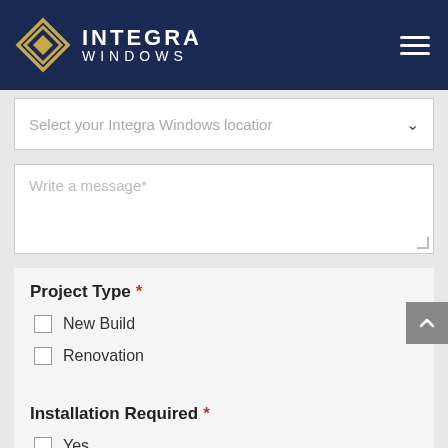[Figure (logo): Integra Windows logo: gold diamond/rhombus geometric icon with white text 'INTEGRA WINDOWS' on dark navy background, with hamburger menu icon on the right]
Select your Integra Windows location
Write a message*
Project Type *
New Build
Renovation
Installation Required *
Yes
No, I have my own installer
How did you hear about us